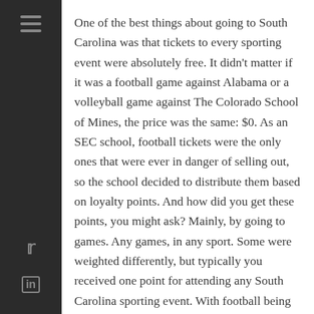One of the best things about going to South Carolina was that tickets to every sporting event were absolutely free. It didn't matter if it was a football game against Alabama or a volleyball game against The Colorado School of Mines, the price was the same: $0. As an SEC school, football tickets were the only ones that were ever in danger of selling out, so the school decided to distribute them based on loyalty points. And how did you get these points, you might ask? Mainly, by going to games. Any games, in any sport. Some were weighted differently, but typically you received one point for attending any South Carolina sporting event. With football being one of the earliest sports played in the school year, this incentivized freshman, who obviously start with no points, to go to as many games as possible